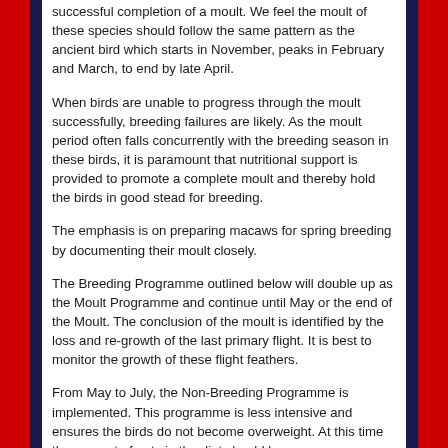successful completion of a moult. We feel the moult of these species should follow the same pattern as the ancient bird which starts in November, peaks in February and March, to end by late April.
When birds are unable to progress through the moult successfully, breeding failures are likely. As the moult period often falls concurrently with the breeding season in these birds, it is paramount that nutritional support is provided to promote a complete moult and thereby hold the birds in good stead for breeding.
The emphasis is on preparing macaws for spring breeding by documenting their moult closely.
The Breeding Programme outlined below will double up as the Moult Programme and continue until May or the end of the Moult. The conclusion of the moult is identified by the loss and re-growth of the last primary flight. It is best to monitor the growth of these flight feathers.
From May to July, the Non-Breeding Programme is implemented. This programme is less intensive and ensures the birds do not become overweight. At this time the amount of nuts in the diet should be